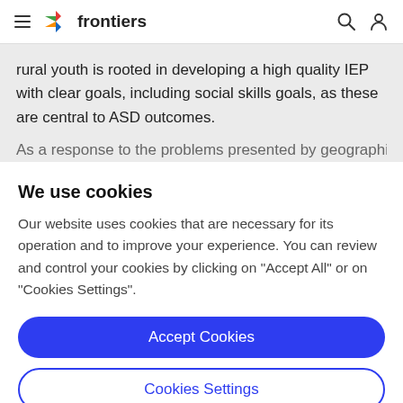frontiers
rural youth is rooted in developing a high quality IEP with clear goals, including social skills goals, as these are central to ASD outcomes.
As a response to the problems presented by geographic
We use cookies
Our website uses cookies that are necessary for its operation and to improve your experience. You can review and control your cookies by clicking on "Accept All" or on "Cookies Settings".
Accept Cookies
Cookies Settings